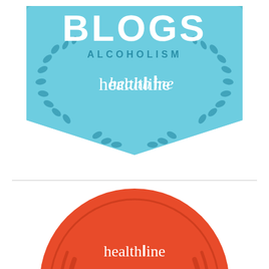[Figure (logo): Healthline Best Blogs Alcoholism badge - light blue shield/pentagon shape with laurel wreath decoration, text BLOGS in large white letters, ALCOHOLISM below in blue, and healthline logo in white cursive]
[Figure (logo): Healthline Best Blogs badge - red circle with healthline logo in white, BEST in white uppercase, and Blogs in large white cursive script]